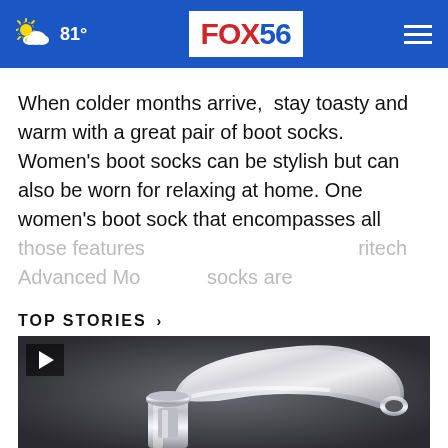81° FOX 56
When colder months arrive, stay toasty and warm with a great pair of boot socks. Women's boot socks can be stylish but can also be worn for relaxing at home. One women's boot sock that encompasses all those features ...ritech Advanced Mo... socks are
CONTINUE READING
TOP STORIES ›
[Figure (photo): Close-up photo of a chrome/silver bathroom faucet on a dark background, with a video play button overlay in the top-left corner.]